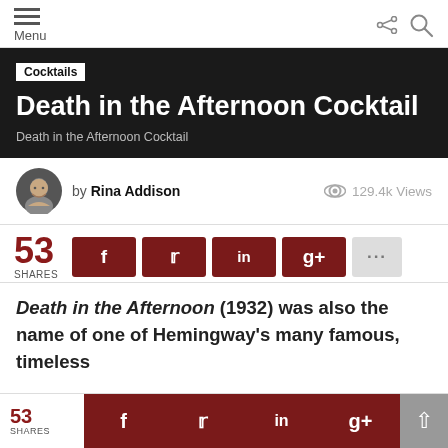Menu
Cocktails
Death in the Afternoon Cocktail
Death in the Afternoon Cocktail
by Rina Addison   129.4k Views
53 SHARES
Death in the Afternoon (1932) was also the name of one of Hemingway's many famous, timeless